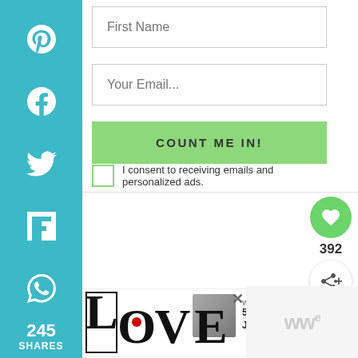[Figure (screenshot): Social sharing sidebar with teal/cyan background, showing Pinterest, Facebook, Twitter, Flipboard, and WhatsApp icons, with '245 SHARES' count at the bottom]
First Name
Your Email...
COUNT ME IN!
I consent to receiving emails and personalized ads.
392
WHAT'S NEXT → 50 Self-Love Journaling...
245 SHARES
[Figure (illustration): LOVE text art illustration in black and white decorative style with a small red heart on the O]
[Figure (screenshot): Ad close button with X and a partial ad showing 'ww' text]